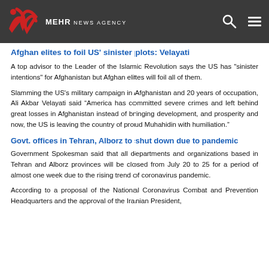MEHR NEWS AGENCY
Afghan elites to foil US' sinister plots: Velayati
A top advisor to the Leader of the Islamic Revolution says the US has "sinister intentions" for Afghanistan but Afghan elites will foil all of them.
Slamming the US's military campaign in Afghanistan and 20 years of occupation, Ali Akbar Velayati said “America has committed severe crimes and left behind great losses in Afghanistan instead of bringing development, and prosperity and now, the US is leaving the country of proud Muhahidin with humiliation.”
Govt. offices in Tehran, Alborz to shut down due to pandemic
Government Spokesman said that all departments and organizations based in Tehran and Alborz provinces will be closed from July 20 to 25 for a period of almost one week due to the rising trend of coronavirus pandemic.
According to a proposal of the National Coronavirus Combat and Prevention Headquarters and the approval of the Iranian President,